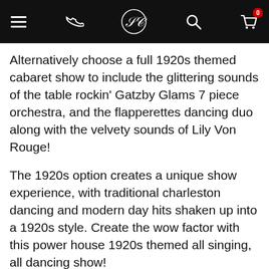[Navigation bar with menu, phone, logo, search, and cart icons]
Alternatively choose a full 1920s themed cabaret show to include the glittering sounds of the table rockin' Gatzby Glams 7 piece orchestra, and the flapperettes dancing duo along with the velvety sounds of Lily Von Rouge!
The 1920s option creates a unique show experience, with traditional charleston dancing and modern day hits shaken up into a 1920s style. Create the wow factor with this power house 1920s themed all singing, all dancing show!
All show options can be adapted to suit a variety of